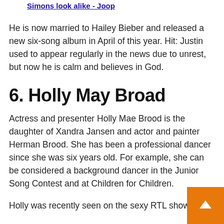Simons look alike - Joop
He is now married to Hailey Bieber and released a new six-song album in April of this year. Hit: Justin used to appear regularly in the news due to unrest, but now he is calm and believes in God.
6. Holly May Broad
Actress and presenter Holly Mae Brood is the daughter of Xandra Jansen and actor and painter Herman Brood. She has been a professional dancer since she was six years old. For example, she can be considered a background dancer in the Junior Song Contest and at Children for Children.
Holly was recently seen on the sexy RTL show